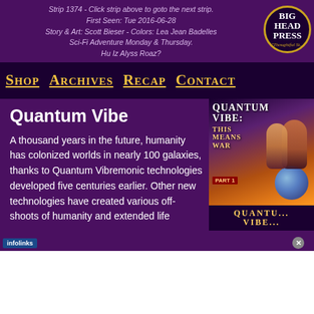Strip 1374 - Click strip above to goto the next strip.
First Seen: Tue 2016-06-28
Story & Art: Scott Bieser - Colors: Lea Jean Badelles
Sci-Fi Adventure Monday & Thursday.
Hu Iz Alyss Roaz?
Shop  Archives  Recap  Contact
Quantum Vibe
A thousand years in the future, humanity has colonized worlds in nearly 100 galaxies, thanks to Quantum Vibremonic technologies developed five centuries earlier. Other new technologies have created various off-shoots of humanity and extended life
[Figure (illustration): Book cover for Quantum Vibe: This Means War, Part 1, showing sci-fi characters with a glowing blue orb, orange background tones. Below the cover image is a banner reading QUANTUM VIBE in yellow capital letters.]